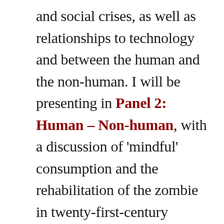and social crises, as well as relationships to technology and between the human and the non-human. I will be presenting in Panel 2: Human – Non-human, with a discussion of 'mindful' consumption and the rehabilitation of the zombie in twenty-first-century popular culture. Using the metaphor of mindfulness and the mindful consumer, I suggest that rather than dehumanising the other outside of